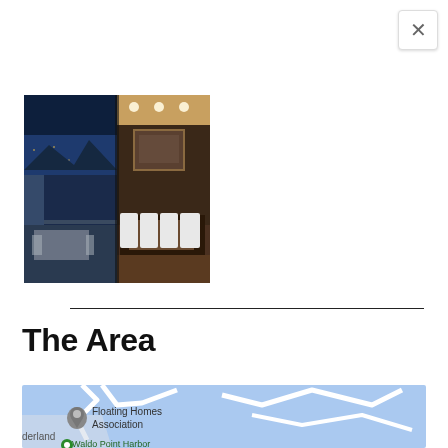[Figure (photo): Interior/exterior photo of a luxury property showing a balcony with outdoor furniture on the left and an elegantly lit dining room visible through large windows on the right, taken at dusk.]
The Area
[Figure (map): Google Maps screenshot showing a water/harbor area with a location pin labeled 'Floating Homes Association', partial text 'derland' on the left, and 'Waldo Point Harbor' visible at the bottom, with blue water and white road outlines.]